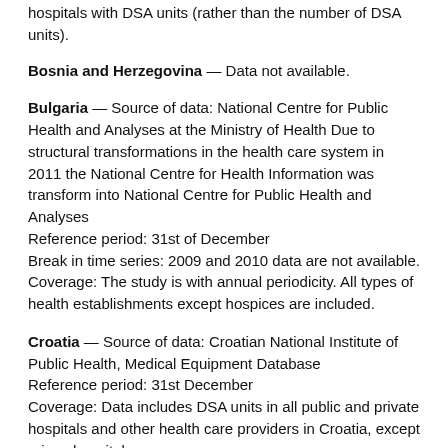hospitals with DSA units (rather than the number of DSA units).
Bosnia and Herzegovina — Data not available.
Bulgaria — Source of data: National Centre for Public Health and Analyses at the Ministry of Health Due to structural transformations in the health care system in 2011 the National Centre for Health Information was transform into National Centre for Public Health and Analyses
Reference period: 31st of December
Break in time series: 2009 and 2010 data are not available.
Coverage: The study is with annual periodicity. All types of health establishments except hospices are included.
Croatia — Source of data: Croatian National Institute of Public Health, Medical Equipment Database
Reference period: 31st December
Coverage: Data includes DSA units in all public and private hospitals and other health care providers in Croatia, except prison hospital.
Cyprus — Source of data: Up to 2004: Nicosia General Hospital, Medical Physics Department. From 2005: Ministry of Labour and Social Insurance, Department of Labour Inspection, Radiation Inspection and Control Service.